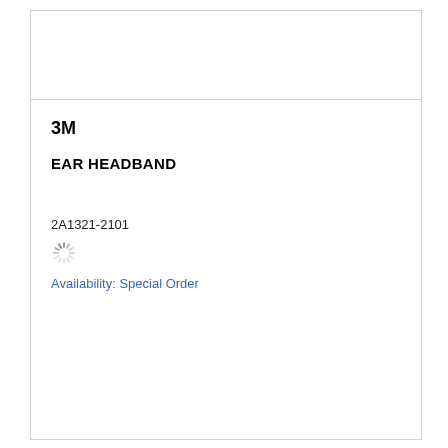3M
EAR HEADBAND
2A1321-2101
[Figure (other): Loading spinner icon]
Availability: Special Order